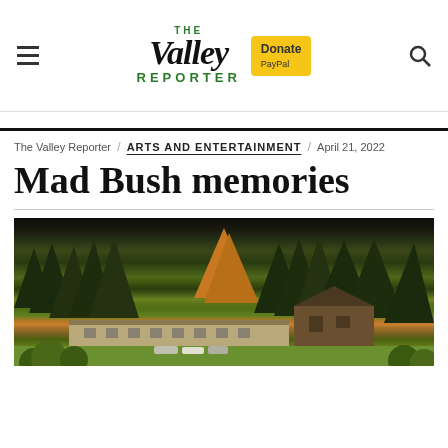The Valley Reporter — [hamburger menu] [search icon] [Donate button]
The Valley Reporter / ARTS AND ENTERTAINMENT  April 21, 2022
Mad Bush memories
[Figure (photo): Exterior photograph of a lodge or resort building set among autumn foliage trees, with a large lawn in the foreground and mountains/forest in the background. The building is a long low structure with a chalet-style wing on the right.]